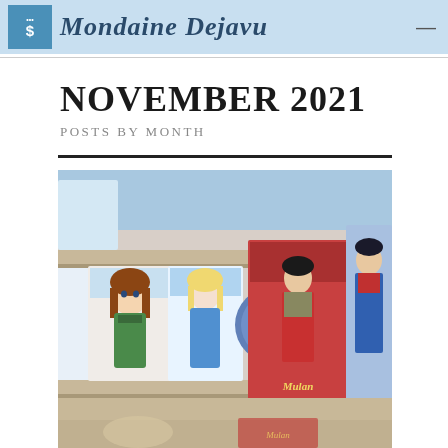Mondaine Dejavu
NOVEMBER 2021
POSTS BY MONTH
[Figure (photo): Photograph of Disney dolls on a retail store shelf, including Frozen characters Anna and Elsa, and a Mulan doll in packaging]